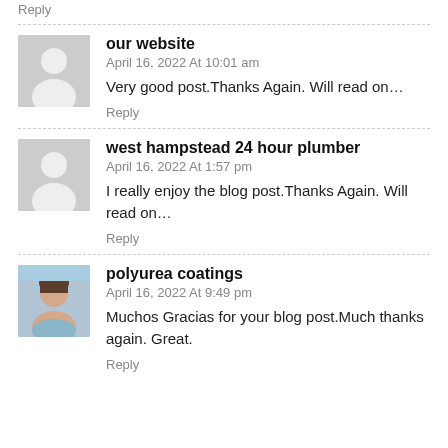Reply
our website
April 16, 2022 At 10:01 am
Very good post.Thanks Again. Will read on…
Reply
west hampstead 24 hour plumber
April 16, 2022 At 1:57 pm
I really enjoy the blog post.Thanks Again. Will read on…
Reply
polyurea coatings
April 16, 2022 At 9:49 pm
Muchos Gracias for your blog post.Much thanks again. Great.
Reply